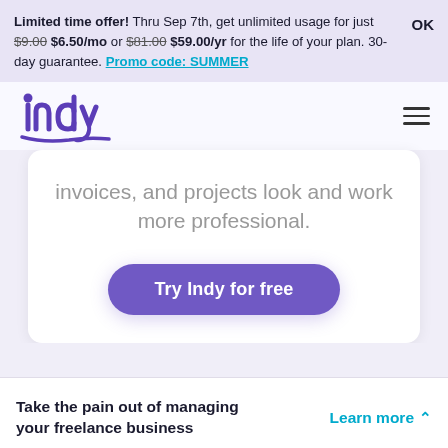Limited time offer! Thru Sep 7th, get unlimited usage for just $9.00 $6.50/mo or $81.00 $59.00/yr for the life of your plan. 30-day guarantee. Promo code: SUMMER  OK
[Figure (logo): Indy logo — stylized purple cursive wordmark 'indy' with a swash underline]
invoices, and projects look and work more professional.
Try Indy for free
Take the pain out of managing your freelance business
Learn more